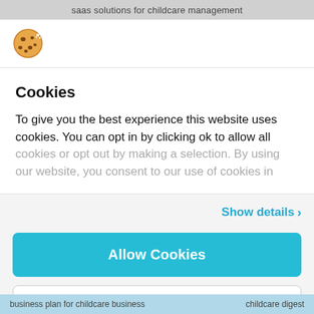saas solutions for childcare management
[Figure (illustration): Cookie emoji icon - a round cookie with chocolate chips]
Cookies
To give you the best experience this website uses cookies. You can opt in by clicking ok to allow all cookies or opt out by making a selection. By using our website, you consent to our use of cookies in
Show details ›
Allow Cookies
Customise ›
business plan for childcare business    childcare digest